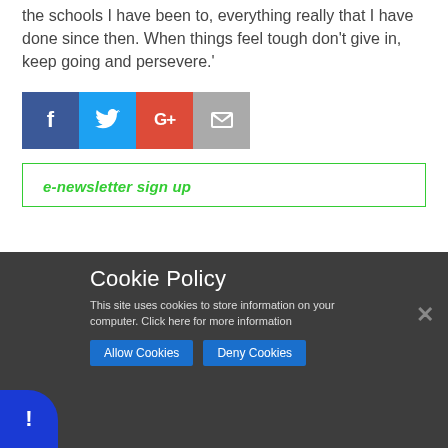the schools I have been to, everything really that I have done since then. When things feel tough don't give in, keep going and persevere.'
[Figure (infographic): Social share buttons: Facebook (dark blue), Twitter (light blue), Google+ (red), and email/send (grey)]
e-newsletter sign up
Cookie Policy
This site uses cookies to store information on your computer. Click here for more information
Allow Cookies  Deny Cookies